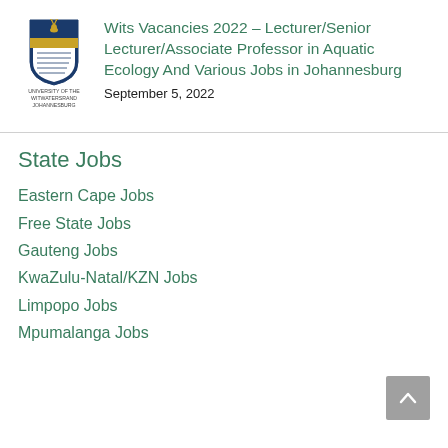[Figure (logo): University of the Witwatersrand Johannesburg crest/shield logo with text below]
Wits Vacancies 2022 – Lecturer/Senior Lecturer/Associate Professor in Aquatic Ecology And Various Jobs in Johannesburg
September 5, 2022
State Jobs
Eastern Cape Jobs
Free State Jobs
Gauteng Jobs
KwaZulu-Natal/KZN Jobs
Limpopo Jobs
Mpumalanga Jobs